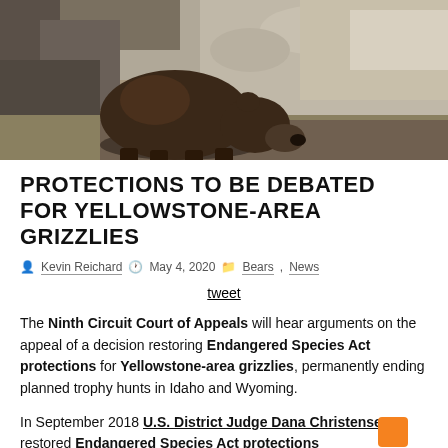[Figure (photo): A grizzly bear walking and sniffing rocky terrain outdoors, viewed from the side against rocks and dry grass]
PROTECTIONS TO BE DEBATED FOR YELLOWSTONE-AREA GRIZZLIES
Kevin Reichard   May 4, 2020   Bears, News
tweet
The Ninth Circuit Court of Appeals will hear arguments on the appeal of a decision restoring Endangered Species Act protections for Yellowstone-area grizzlies, permanently ending planned trophy hunts in Idaho and Wyoming.
In September 2018 U.S. District Judge Dana Christensen restored Endangered Species Act protections